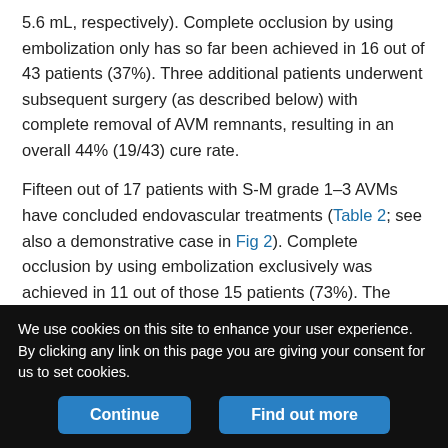5.6 mL, respectively). Complete occlusion by using embolization only has so far been achieved in 16 out of 43 patients (37%). Three additional patients underwent subsequent surgery (as described below) with complete removal of AVM remnants, resulting in an overall 44% (19/43) cure rate.
Fifteen out of 17 patients with S-M grade 1–3 AVMs have concluded endovascular treatments (Table 2; see also a demonstrative case in Fig 2). Complete occlusion by using embolization exclusively was achieved in 11 out of those 15 patients (73%). The median number of treatment sessions in this subgroup was 1 (range, 1–2). In 8 patients complete occlusion was achieved after a single treatment session. Two patients in this group (both with grade 3 AVMs)
We use cookies on this site to enhance your user experience. By clicking any link on this page you are giving your consent for us to set cookies.